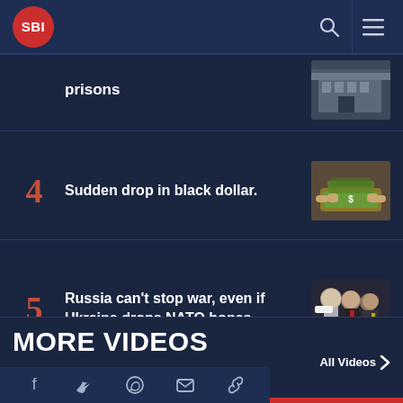SBI
prisons
4 Sudden drop in black dollar.
5 Russia can't stop war, even if Ukraine drops NATO hopes...
MORE VIDEOS
All Videos